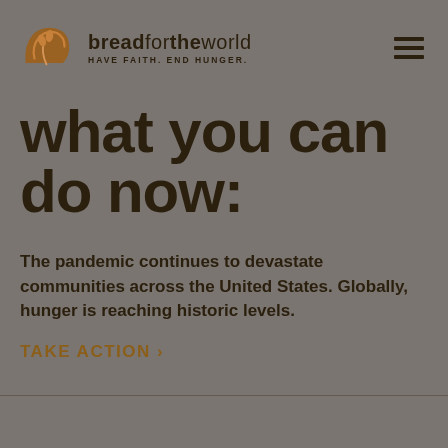[Figure (logo): Bread for the World logo — stylized bread loaf icon in brown, with text 'breadfortheworld' and tagline 'HAVE FAITH. END HUNGER.']
what you can do now:
The pandemic continues to devastate communities across the United States. Globally, hunger is reaching historic levels.
TAKE ACTION >